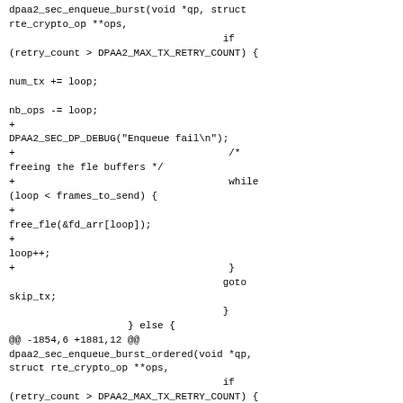dpaa2_sec_enqueue_burst(void *qp, struct rte_crypto_op **ops,
                                    if (retry_count > DPAA2_MAX_TX_RETRY_COUNT) {

num_tx += loop;

nb_ops -= loop;
+
DPAA2_SEC_DP_DEBUG("Enqueue fail\n");
+                                    /* freeing the fle buffers */
+                                    while (loop < frames_to_send) {
+
free_fle(&fd_arr[loop]);
+
loop++;
+                                    }
                                    goto skip_tx;
                                    }
                    } else {
@@ -1854,6 +1881,12 @@ dpaa2_sec_enqueue_burst_ordered(void *qp, struct rte_crypto_op **ops,
                                    if (retry_count > DPAA2_MAX_TX_RETRY_COUNT) {

num_tx += loop;